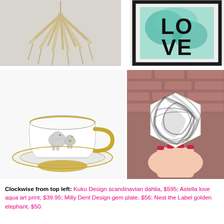[Figure (photo): Kuku Design scandinavian dahlia pendant lamp made of light wood/straw petals hanging against a light grey background]
[Figure (photo): Astella love aqua art print in a black frame, showing the word LOVE with teal/aqua watercolor background]
[Figure (photo): Nest the Label golden elephant teacup and saucer - white porcelain with gold handle and rim, elephant motif]
[Figure (photo): Milly Dent Design gem plate - hexagonal black and white marbled ceramic dish held by a hand against a brick wall]
Clockwise from top left: Kuku Design scandinavian dahlia, $595; Astella love aqua art print, $39.95; Milly Dent Design gem plate, $56; Nest the Label golden elephant, $50.